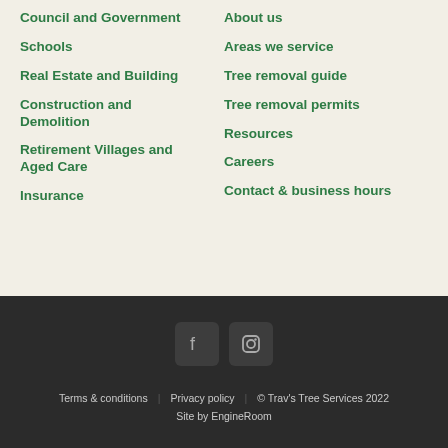Council and Government
Schools
Real Estate and Building
Construction and Demolition
Retirement Villages and Aged Care
Insurance
About us
Areas we service
Tree removal guide
Tree removal permits
Resources
Careers
Contact & business hours
[Figure (illustration): Facebook and Instagram social media icons in dark square buttons]
Terms & conditions   Privacy policy   © Trav's Tree Services 2022   Site by EngineRoom